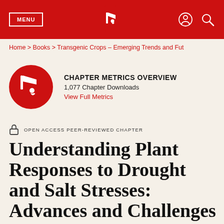MENU | [IntechOpen logo] | [user icon] [search icon]
Home > Books > Transgenic Crops – Emerging Trends and Fut
[Figure (logo): IntechOpen red circle logo with stylized bird/flag icon]
CHAPTER METRICS OVERVIEW
1,077 Chapter Downloads
View Full Metrics
OPEN ACCESS PEER-REVIEWED CHAPTER
Understanding Plant Responses to Drought and Salt Stresses: Advances and Challenges in “Omics”